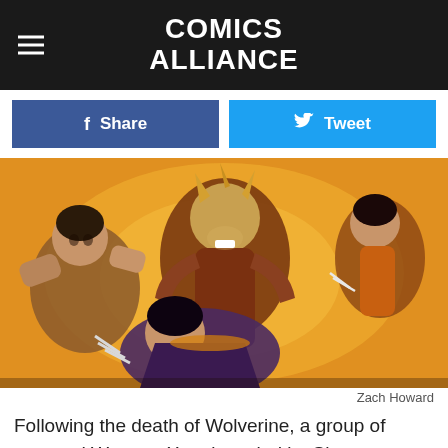COMICS ALLIANCE
Share
Tweet
[Figure (illustration): Comic book art showing Wolverine characters in action poses against an orange/yellow explosion background. Characters include a feral figure, a blonde muscular character, and X-23 with claws extended.]
Zach Howard
Following the death of Wolverine, a group of escaped Weapon X patients led by Shogun kidnapped Daken, X-23,